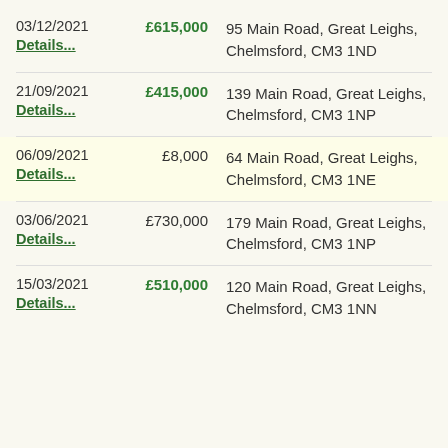03/12/2021 £615,000 95 Main Road, Great Leighs, Chelmsford, CM3 1ND Details...
21/09/2021 £415,000 139 Main Road, Great Leighs, Chelmsford, CM3 1NP Details...
06/09/2021 £8,000 64 Main Road, Great Leighs, Chelmsford, CM3 1NE Details...
03/06/2021 £730,000 179 Main Road, Great Leighs, Chelmsford, CM3 1NP Details...
15/03/2021 £510,000 120 Main Road, Great Leighs, Chelmsford, CM3 1NN Details...